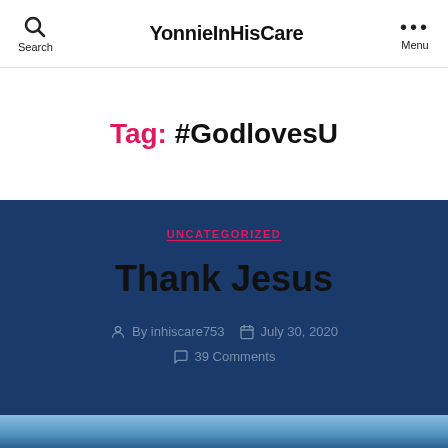Search | YonnieInHisCare | Menu
Tag: #GodlovesU
UNCATEGORIZED
Thank Jesus
By inhiscare753  July 30, 2020  39 Comments
[Figure (photo): Sky/clouds image preview at bottom of page]